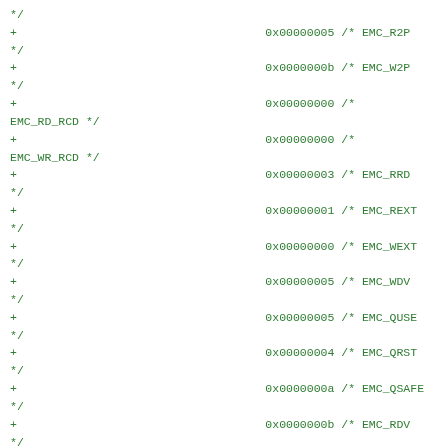*/
+                                    0x00000005 /* EMC_R2P
*/
+                                    0x0000000b /* EMC_W2P
*/
+                                    0x00000000 /*
EMC_RD_RCD */
+                                    0x00000000 /*
EMC_WR_RCD */
+                                    0x00000003 /* EMC_RRD
*/
+                                    0x00000001 /* EMC_REXT
*/
+                                    0x00000000 /* EMC_WEXT
*/
+                                    0x00000005 /* EMC_WDV
*/
+                                    0x00000005 /* EMC_QUSE
*/
+                                    0x00000004 /* EMC_QRST
*/
+                                    0x0000000a /* EMC_QSAFE
*/
+                                    0x0000000b /* EMC_RDV
*/
+                                    0x00000181 /*
EMC_REFRESH */
+                                    0x00000000 /*
EMC_BURST_REFRESH_NUM */
+                                    0x00000060 /*
EMC_PRE_REFRESH_REQ_CNT */